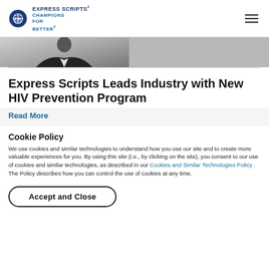Express Scripts® Champions for Better
[Figure (photo): Partial photo of a person in a dark suit with a light tie, cropped to show torso and partial face against a light grey background]
Express Scripts Leads Industry with New HIV Prevention Program
Read More
Cookie Policy
We use cookies and similar technologies to understand how you use our site and to create more valuable experiences for you. By using this site (i.e., by clicking on the site), you consent to our use of cookies and similar technologies, as described in our Cookies and Similar Technologies Policy . The Policy describes how you can control the use of cookies at any time.
Accept and Close